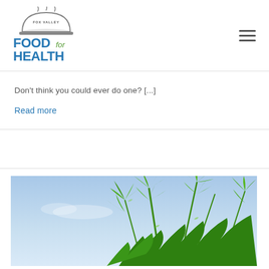[Figure (logo): Fox Valley Food for Health logo with cloche/serving dish icon and text 'FOOD for HEALTH' in blue and green]
Don't think you could ever do one? [...]
Read more
[Figure (photo): Photo of green herb (dill or fennel) with feathery fronds against a blue sky background]